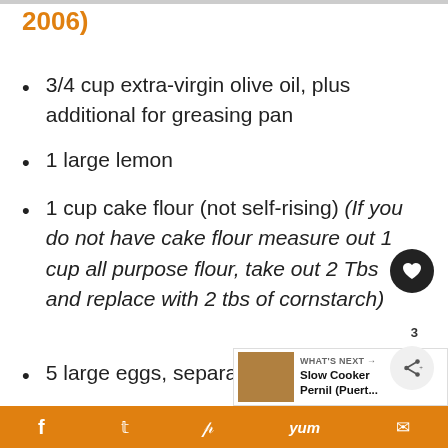2006)
3/4 cup extra-virgin olive oil, plus additional for greasing pan
1 large lemon
1 cup cake flour (not self-rising) (If you do not have cake flour measure out 1 cup all purpose flour, take out 2 Tbs and replace with 2 tbs of cornstarch)
5 large eggs, separated, reservin...
f  [twitter]  [pinterest]  yum  [email]